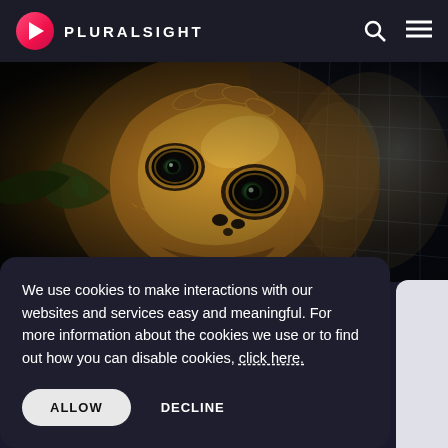PLURALSIGHT
[Figure (photo): Close-up photo of a detailed alien/creature 3D rendered mask or character face with golden-brown textured skin, multiple eyes, and metallic details against a dark blurred background]
We use cookies to make interactions with our websites and services easy and meaningful. For more information about the cookies we use or to find out how you can disable cookies, click here.
ALLOW   DECLINE